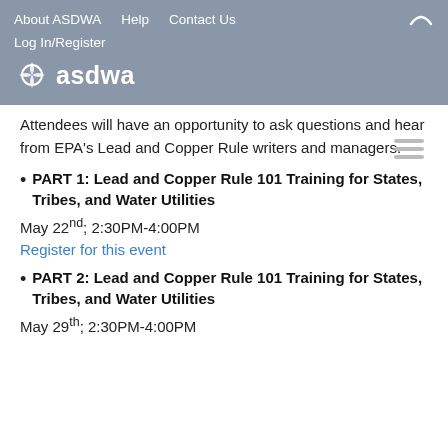About ASDWA  Help  Contact Us  Log In/Register
[Figure (logo): ASDWA logo with water drop icon and text 'asdwa' in white]
Attendees will have an opportunity to ask questions and hear from EPA's Lead and Copper Rule writers and managers.
PART 1: Lead and Copper Rule 101 Training for States, Tribes, and Water Utilities
May 22nd; 2:30PM-4:00PM
Register for this event
PART 2: Lead and Copper Rule 101 Training for States, Tribes, and Water Utilities
May 29th; 2:30PM-4:00PM